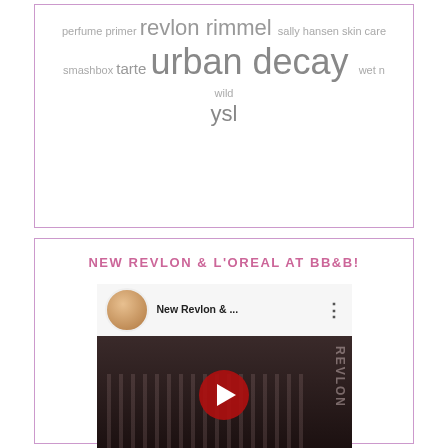perfume primer revlon rimmel sally hansen skin care smashbox tarte urban decay wet n wild ysl
NEW REVLON & L'OREAL AT BB&B!
[Figure (screenshot): YouTube video thumbnail showing 'New Revlon & ...' with a woman's profile photo avatar, dark background showing Revlon makeup display with lipsticks, YouTube play button in center]